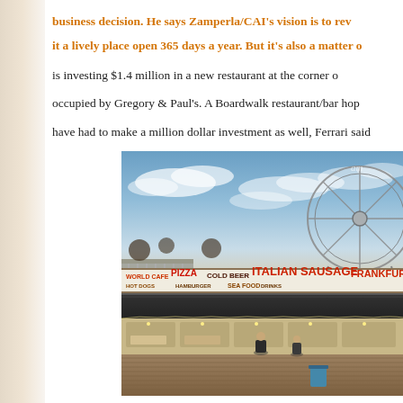business decision. He says Zamperla/CAI's vision is to revitalize it a lively place open 365 days a year. But it's also a matter of is investing $1.4 million in a new restaurant at the corner of occupied by Gregory & Paul's. A Boardwalk restaurant/bar hop have had to make a million dollar investment as well, Ferrari said.
[Figure (photo): A boardwalk scene at dusk/early evening showing a row of food vendor stalls with signs advertising pizza, cold beer, Italian sausage, frankfurters, sea food, and drinks. A large rollercoaster structure is visible in the background against a cloud-streaked sky. Two people stand on the wooden boardwalk in front of the stalls.]